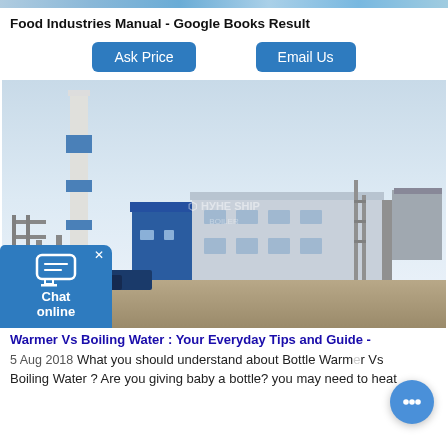Food Industries Manual - Google Books Result
Ask Price   Email Us
[Figure (photo): Industrial facility with tall chimney/smokestack (white with blue bands), blue and white factory buildings, pipework, and dry ground in foreground. Watermark text visible in center.]
Warmer Vs Boiling Water : Your Everyday Tips and Guide -
5 Aug 2018 What you should understand about Bottle Warmer Vs Boiling Water ? Are you giving baby a bottle? you may need to heat